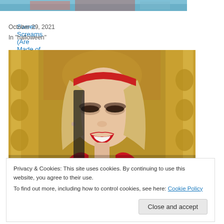[Figure (photo): Partial top of an image showing a person with blue/teal hair against a colorful background]
Sweet Screams (Are Made of This)
October 29, 2021
In "halloween"
[Figure (photo): A woman with blonde hair, red lips, heavy eye makeup, wearing red, sitting in front of ornate gold decor. Subtitle reads: I do it all the time]
Privacy & Cookies: This site uses cookies. By continuing to use this website, you agree to their use.
To find out more, including how to control cookies, see here: Cookie Policy
Close and accept